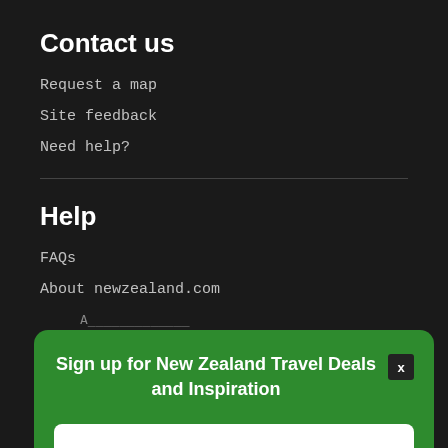Contact us
Request a map
Site feedback
Need help?
Help
FAQs
About newzealand.com
[Figure (other): Popup modal with green background containing 'Sign up for New Zealand Travel Deals and Inspiration' heading, a close (x) button, and a Subscribe button]
Sign up for New Zealand Travel Deals and Inspiration
Subscribe